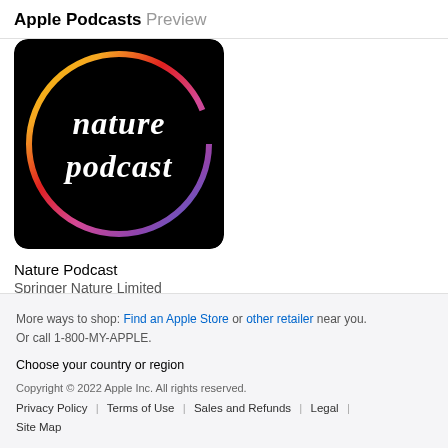Apple Podcasts Preview
[Figure (illustration): Nature Podcast cover art: black background with colorful circular gradient (yellow, orange, red, pink, purple, blue) and white bold text reading 'nature podcast']
Nature Podcast
Springer Nature Limited
More ways to shop: Find an Apple Store or other retailer near you. Or call 1-800-MY-APPLE.
Choose your country or region
Copyright © 2022 Apple Inc. All rights reserved.
Privacy Policy | Terms of Use | Sales and Refunds | Legal | Site Map